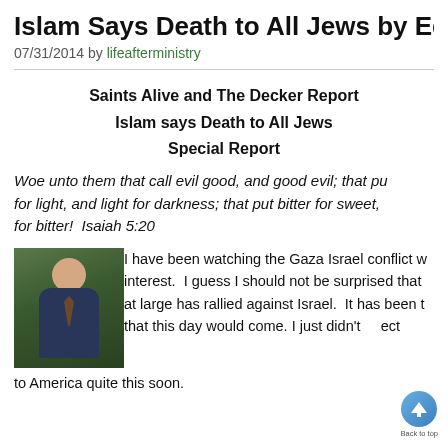Islam Says Death to All Jews by Ed D
07/31/2014 by lifeafterministry
Saints Alive and The Decker Report
Islam says Death to All Jews
Special Report
Woe unto them that call evil good, and good evil; that put darkness for light, and light for darkness; that put bitter for sweet, and sweet for bitter!  Isaiah 5:20
[Figure (photo): Headshot photo of a man in a suit with a tie, outdoors background with greenery]
I have been watching the Gaza Israel conflict with great interest.  I guess I should not be surprised that the world at large has rallied against Israel.  It has been told to us that this day would come. I just didn't expect it to come to America quite this soon.